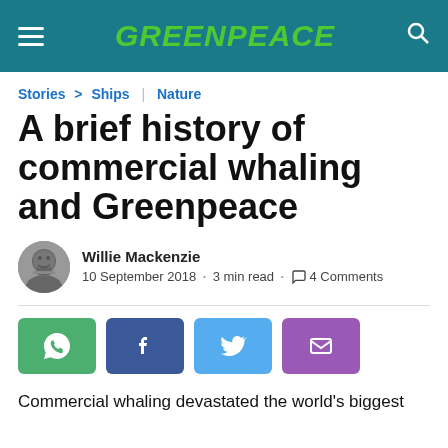GREENPEACE
Stories > Ships | Nature
A brief history of commercial whaling and Greenpeace
Willie Mackenzie
10 September 2018 · 3 min read · 4 Comments
[Figure (infographic): Social share buttons: WhatsApp (green), Facebook (dark blue), Twitter (light blue), Email (purple)]
Commercial whaling devastated the world's biggest